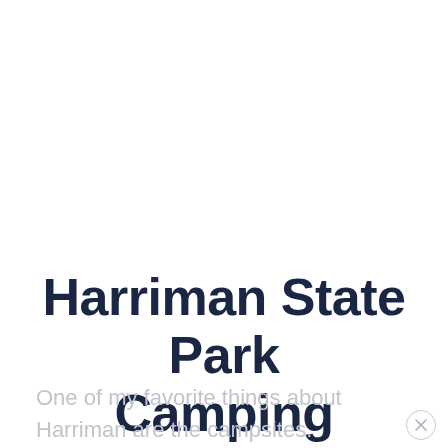Harriman State Park Camping
One of my favorite things about Harriman are the campsites. Having grown up in the